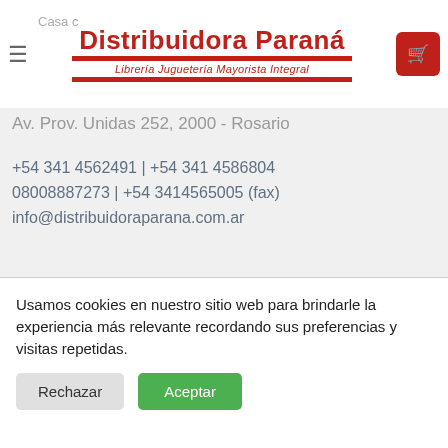Distribuidora Paraná — Librería Juguetería Mayorista Integral
Av. Prov. Unidas 252, 2000 - Rosario
+54 341 4562491 | +54 341 4586804
08008887273 | +54 3414565005 (fax)
info@distribuidoraparana.com.ar
Horario de atención:
Lunes a viernes de 9:00 a 16:30 hs.
(Horario corrido)
Usamos cookies en nuestro sitio web para brindarle la experiencia más relevante recordando sus preferencias y visitas repetidas.